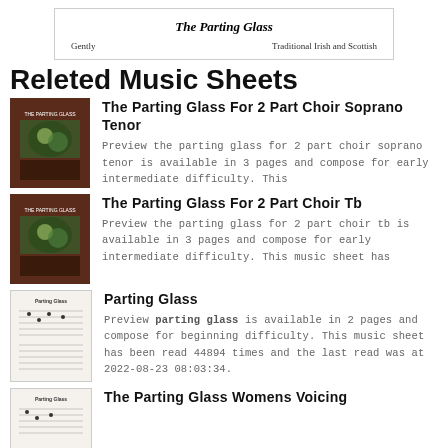[Figure (other): Music sheet preview header showing 'The Parting Glass' title with 'Gently' and 'Traditional Irish and Scottish' labels]
Releted Music Sheets
[Figure (illustration): Thumbnail of The Parting Glass For 2 Part Choir Soprano Tenor sheet music cover]
The Parting Glass For 2 Part Choir Soprano Tenor
Preview the parting glass for 2 part choir soprano tenor is available in 3 pages and compose for early intermediate difficulty. This
[Figure (illustration): Thumbnail of The Parting Glass For 2 Part Choir Tb sheet music cover]
The Parting Glass For 2 Part Choir Tb
Preview the parting glass for 2 part choir tb is available in 3 pages and compose for early intermediate difficulty. This music sheet has
[Figure (illustration): Thumbnail of Parting Glass sheet music cover showing music notation]
Parting Glass
Preview parting glass is available in 2 pages and compose for beginning difficulty. This music sheet has been read 44894 times and the last read was at 2022-08-23 08:03:34.
[Figure (illustration): Thumbnail of The Parting Glass Womens Voicing sheet music cover]
The Parting Glass Womens Voicing